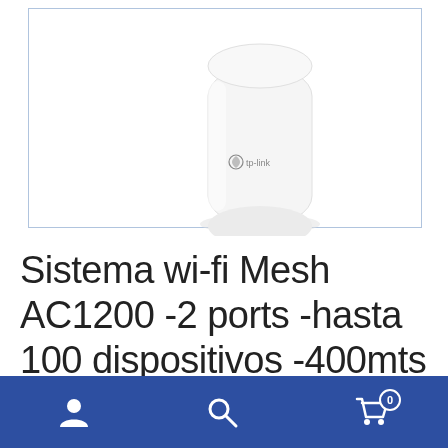[Figure (photo): TP-Link mesh WiFi router device, white cylindrical shape, shown partially cropped at bottom, with TP-Link logo visible on the body. Product displayed on white background within a bordered rectangle.]
Sistema wi-fi Mesh AC1200 -2 ports -hasta 100 dispositivos -400mts cuadrados -pack de 1 -2
[Figure (infographic): Blue bottom navigation bar with three white icons: user/person icon on the left, search/magnifying glass in the center, and shopping cart icon on the right with a badge showing '0'.]